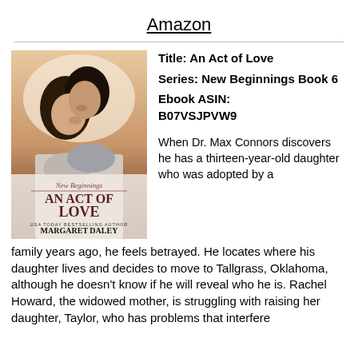Amazon
[Figure (photo): Book cover for 'An Act of Love' by Margaret Daley, part of the New Beginnings series. Shows a couple about to kiss with warm lighting. Title text reads 'New Beginnings AN ACT OF LOVE' in large letters and 'USA TODAY BESTSELLING AUTHOR MARGARET DALEY' at the bottom.]
Title: An Act of Love
Series: New Beginnings Book 6
Ebook ASIN: B07VSJPVW9
When Dr. Max Connors discovers he has a thirteen-year-old daughter who was adopted by a family years ago, he feels betrayed. He locates where his daughter lives and decides to move to Tallgrass, Oklahoma, although he doesn't know if he will reveal who he is. Rachel Howard, the widowed mother, is struggling with raising her daughter, Taylor, who has problems that interfere